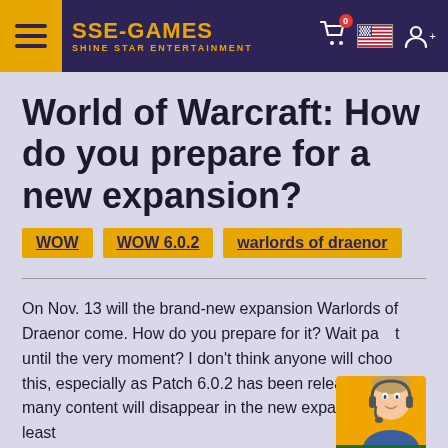SSE-GAMES SHINE STAR ENTERTAINMENT
World of Warcraft: How do you prepare for a new expansion?
WOW
WOW 6.0.2
warlords of draenor
On Nov. 13 will the brand-new expansion Warlords of Draenor come. How do you prepare for it? Wait past until the very moment? I don't think anyone will choose this, especially as Patch 6.0.2 has been released and many content will disappear in the new expansion. At least